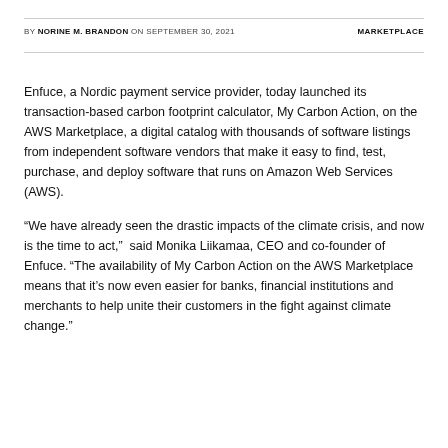BY NORINE M. BRANDON ON SEPTEMBER 30, 2021   MARKETPLACE
Enfuce, a Nordic payment service provider, today launched its transaction-based carbon footprint calculator, My Carbon Action, on the AWS Marketplace, a digital catalog with thousands of software listings from independent software vendors that make it easy to find, test, purchase, and deploy software that runs on Amazon Web Services (AWS).
“We have already seen the drastic impacts of the climate crisis, and now is the time to act,” said Monika Liikamaa, CEO and co-founder of Enfuce. “The availability of My Carbon Action on the AWS Marketplace means that it’s now even easier for banks, financial institutions and merchants to help unite their customers in the fight against climate change.”